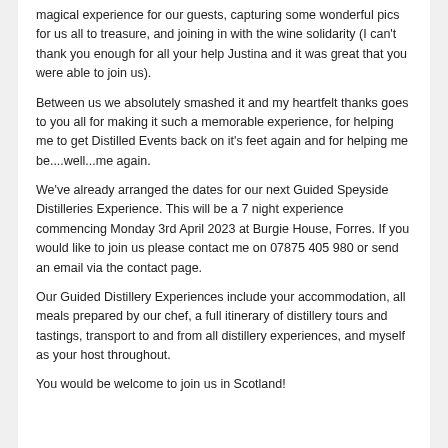magical experience for our guests, capturing some wonderful pics for us all to treasure, and joining in with the wine solidarity (I can't thank you enough for all your help Justina and it was great that you were able to join us).
Between us we absolutely smashed it and my heartfelt thanks goes to you all for making it such a memorable experience, for helping me to get Distilled Events back on it's feet again and for helping me be....well...me again.
We've already arranged the dates for our next Guided Speyside Distilleries Experience. This will be a 7 night experience commencing Monday 3rd April 2023 at Burgie House, Forres. If you would like to join us please contact me on 07875 405 980 or send an email via the contact page.
Our Guided Distillery Experiences include your accommodation, all meals prepared by our chef, a full itinerary of distillery tours and tastings, transport to and from all distillery experiences, and myself as your host throughout.
You would be welcome to join us in Scotland!